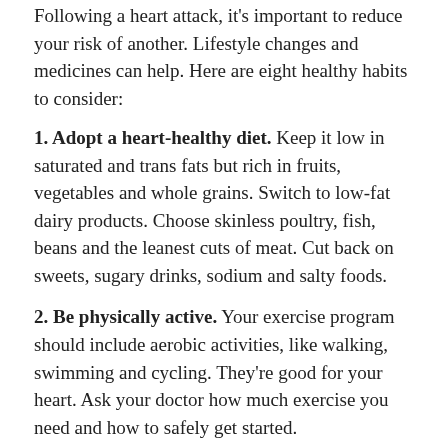Following a heart attack, it's important to reduce your risk of another. Lifestyle changes and medicines can help. Here are eight healthy habits to consider:
1. Adopt a heart-healthy diet. Keep it low in saturated and trans fats but rich in fruits, vegetables and whole grains. Switch to low-fat dairy products. Choose skinless poultry, fish, beans and the leanest cuts of meat. Cut back on sweets, sugary drinks, sodium and salty foods.
2. Be physically active. Your exercise program should include aerobic activities, like walking, swimming and cycling. They're good for your heart. Ask your doctor how much exercise you need and how to safely get started.
3. Maintain a healthy weight. A healthy weight varies from person to person. You can use this body mass index (BMI) calculator to see if you're at a healthy weight. Your BMI is based on your height and current weight. Talk with your doctor about your results and what you can do to reach a healthy weight.
4. Quit smoking. Make a cessation plan if you smoke